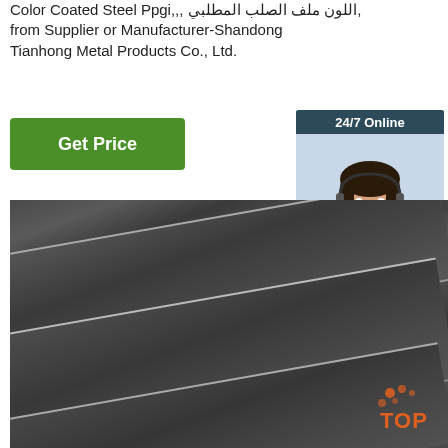Color Coated Steel Ppgi,,, اللون ملف الصلب المطلبي, from Supplier or Manufacturer-Shandong Tianhong Metal Products Co., Ltd.
Get Price
[Figure (infographic): 24/7 Online customer service sidebar with photo of woman wearing headset, 'Click here for free chat!' text, and orange QUOTATION button]
[Figure (photo): Close-up photo of dark gray/black color coated steel PPGI metal plates stacked at an angle, showing smooth coated surface and metallic edges]
[Figure (logo): TOP badge logo with orange dots pattern in bottom right corner]